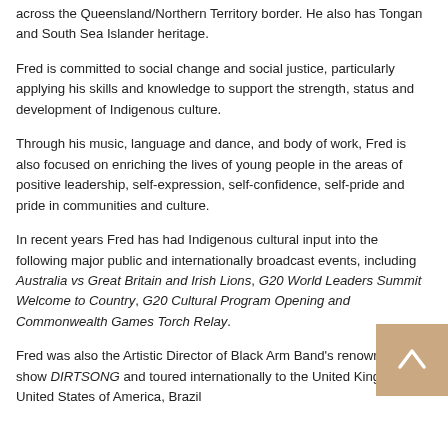across the Queensland/Northern Territory border. He also has Tongan and South Sea Islander heritage.
Fred is committed to social change and social justice, particularly applying his skills and knowledge to support the strength, status and development of Indigenous culture.
Through his music, language and dance, and body of work, Fred is also focused on enriching the lives of young people in the areas of positive leadership, self-expression, self-confidence, self-pride and pride in communities and culture.
In recent years Fred has had Indigenous cultural input into the following major public and internationally broadcast events, including Australia vs Great Britain and Irish Lions, G20 World Leaders Summit Welcome to Country, G20 Cultural Program Opening and Commonwealth Games Torch Relay.
Fred was also the Artistic Director of Black Arm Band's renowned stage show DIRTSONG and toured internationally to the United Kingdom, United States of America, Brazil...